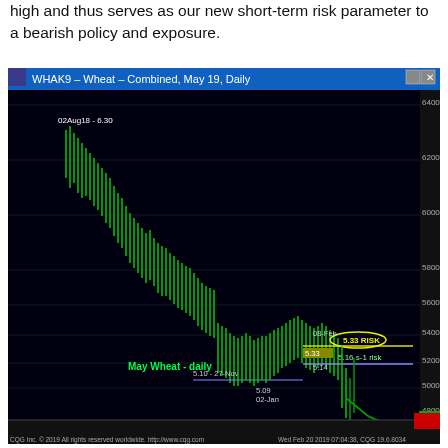high and thus serves as our new short-term risk parameter to a bearish policy and exposure.
[Figure (continuous-plot): Daily candlestick chart of May 2019 Wheat futures (WHAK9) from August 2018 to April 2019. Shows a peak of 6.30 on 02Aug18, declining trend, a low of 5.10 on 27-Nov, a low of 5.09 on 02-Jan, annotations for 5.33 RISK level on 08-Feb, 5.16 s-1 risk level, and a sharp drop toward 4000. Label 'May Wheat - daily' in green. Y-axis ranges from ~4000 to 6400. Footer shows: CQG Inc. © 2019 All rights reserved worldwide. http://www.cqg.com  Wed Feb 20 2019 07:04:38, CQG 19.6.8034]